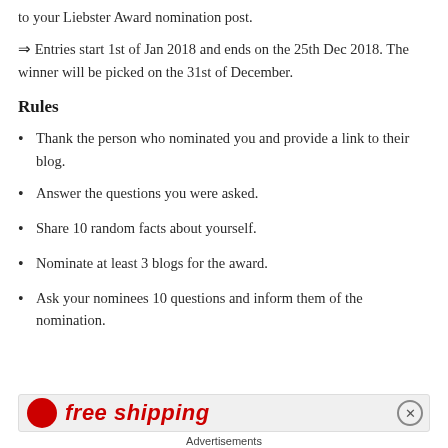to your Liebster Award nomination post.
⇒ Entries start 1st of Jan 2018 and ends on the 25th Dec 2018. The winner will be picked on the 31st of December.
Rules
Thank the person who nominated you and provide a link to their blog.
Answer the questions you were asked.
Share 10 random facts about yourself.
Nominate at least 3 blogs for the award.
Ask your nominees 10 questions and inform them of the nomination.
free shipping
Advertisements